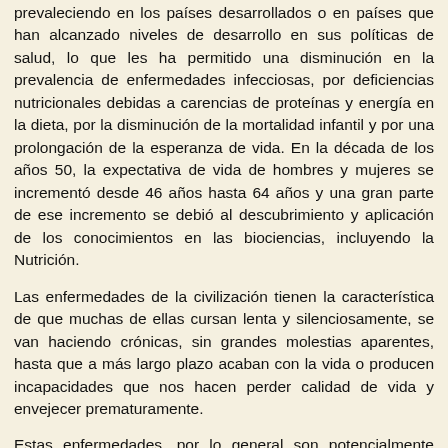prevaleciendo en los países desarrollados o en países que han alcanzado niveles de desarrollo en sus políticas de salud, lo que les ha permitido una disminución en la prevalencia de enfermedades infecciosas, por deficiencias nutricionales debidas a carencias de proteínas y energía en la dieta, por la disminución de la mortalidad infantil y por una prolongación de la esperanza de vida. En la década de los años 50, la expectativa de vida de hombres y mujeres se incrementó desde 46 años hasta 64 años y una gran parte de ese incremento se debió al descubrimiento y aplicación de los conocimientos en las biociencias, incluyendo la Nutrición.
Las enfermedades de la civilización tienen la característica de que muchas de ellas cursan lenta y silenciosamente, se van haciendo crónicas, sin grandes molestias aparentes, hasta que a más largo plazo acaban con la vida o producen incapacidades que nos hacen perder calidad de vida y envejecer prematuramente.
Estas enfermedades, por lo general son potencialmente prevenibles y están relacionadas con malos hábitos alimentarios, estilos de vida inadecuados y sodontarios, así